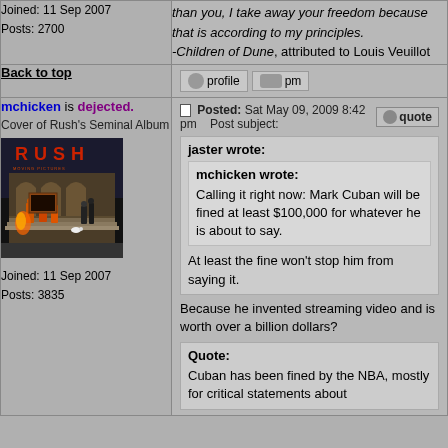Joined: 11 Sep 2007
Posts: 2700
than you, I take away your freedom because that is according to my principles.
-Children of Dune, attributed to Louis Veuillot
Back to top
mchicken is dejected.
Cover of Rush's Seminal Album
[Figure (photo): Rush album cover art showing figures in orange jumpsuits and a painting being carried on steps]
Joined: 11 Sep 2007
Posts: 3835
Posted: Sat May 09, 2009 8:42 pm   Post subject:
jaster wrote:
mchicken wrote:
Calling it right now: Mark Cuban will be fined at least $100,000 for whatever he is about to say.
At least the fine won't stop him from saying it.
Because he invented streaming video and is worth over a billion dollars?
Quote:
Cuban has been fined by the NBA, mostly for critical statements about